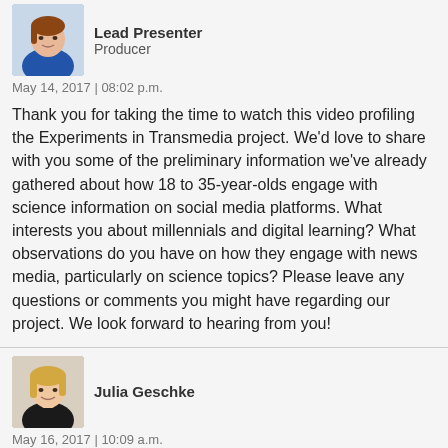[Figure (photo): Profile photo of a woman wearing blue, cropped avatar]
Lead Presenter
Producer
May 14, 2017 | 08:02 p.m.
Thank you for taking the time to watch this video profiling the Experiments in Transmedia project. We'd love to share with you some of the preliminary information we've already gathered about how 18 to 35-year-olds engage with science information on social media platforms. What interests you about millennials and digital learning? What observations do you have on how they engage with news media, particularly on science topics? Please leave any questions or comments you might have regarding our project. We look forward to hearing from you!
[Figure (photo): Profile photo of Julia Geschke, a young blonde woman]
Julia Geschke
May 16, 2017 | 10:09 a.m.
As a millennial interested in science (wildlife management background) this caught my eye. Definitely agree that almost no one I know is watching traditional news broadcasts. Snapchat video stories and Instagram posts are a good way to connect. I might be biased since I have been interested in science, but I think the science topics